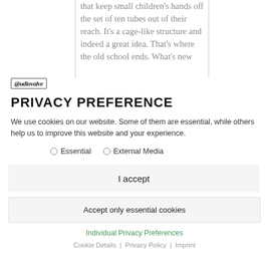that keep small children's hands off the set of ten tubes out of their reach. It's a cage-like structure and indeed a great idea. That's where the old school ends. What's new
[Figure (logo): Audiovalve brand logo in italic bold serif font inside a small bordered box]
PRIVACY PREFERENCE
We use cookies on our website. Some of them are essential, while others help us to improve this website and your experience.
Essential   External Media
I accept
Accept only essential cookies
Individual Privacy Preferences
Cookie Details | Privacy Policy | Imprint